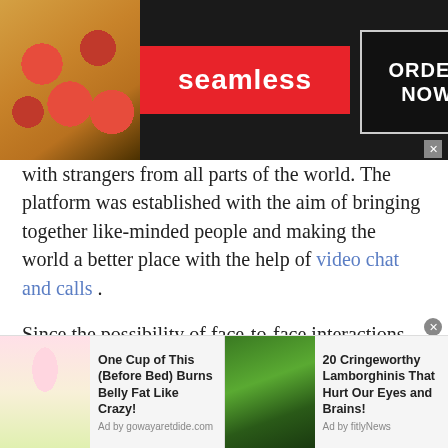[Figure (screenshot): Seamless food delivery advertisement banner with pizza image on left, red Seamless logo in center, and ORDER NOW button in dark box on right]
with strangers from all parts of the world. The platform was established with the aim of bringing together like-minded people and making the world a better place with the help of video chat and calls .
Since the possibility of face-to-face interactions has now become extremely limited, how do you meet new people? The era of sitting at a bar and chatting a stranger up has come to an end. Partly because of the pandemic but mostly because of the introduction of video conferencing applications that allow you to communicate with
[Figure (screenshot): Two bottom advertisement strips: left ad shows woman drinking with text 'One Cup of This (Before Bed) Burns Belly Fat Like Crazy!' by gowayaretdide.com; right ad shows green Lamborghini with text '20 Cringeworthy Lamborghinis That Hurt Our Eyes and Brains!' by fitlyNews]